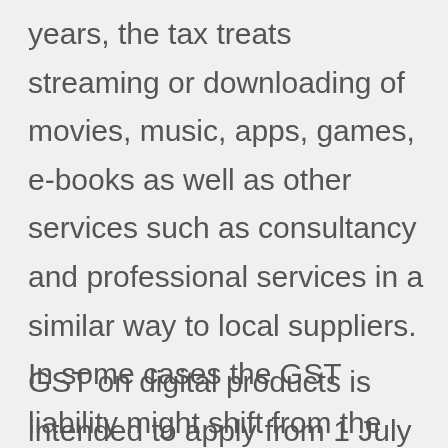years, the tax treats streaming or downloading of movies, music, apps, games, e-books as well as other services such as consultancy and professional services in a similar way to local suppliers. In some cases the GST liability might shift from the supplier to the operator of an electronic distribution service where those operators have responsibility for billing, delivery and terms and conditions.
GST on digital products is intended to apply from 1 July 2017.